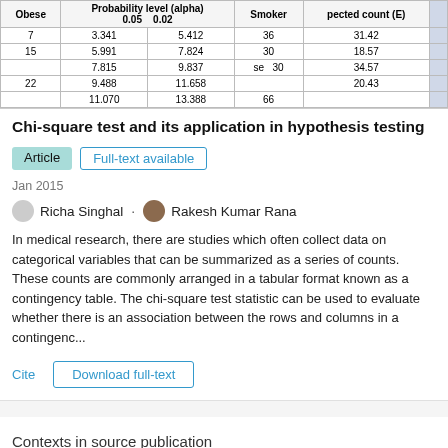[Figure (table-as-image): Partial table showing data columns: Obese, Probability level (alpha) 0.05 and 0.02, Smoker, Expected count (E). Rows contain values: 7, 3.341, 5.412, 36, 31.42; 15, 5.991, 7.824, 30, 18.57; (se), 7.815, 9.837, 30, 34.57; 22, 9.488, 11.658, (blank), 20.43; (blank), 11.070, 13.388, 66, (blank).]
Chi-square test and its application in hypothesis testing
Article   Full-text available
Jan 2015
Richa Singhal · Rakesh Kumar Rana
In medical research, there are studies which often collect data on categorical variables that can be summarized as a series of counts. These counts are commonly arranged in a tabular format known as a contingency table. The chi-square test statistic can be used to evaluate whether there is an association between the rows and columns in a contingenc...
Cite   Download full-text
Contexts in source publication
Context 1